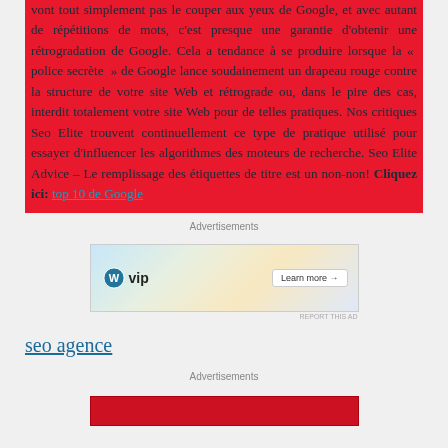vont tout simplement pas le couper aux yeux de Google, et avec autant de répétitions de mots, c'est presque une garantie d'obtenir une rétrogradation de Google. Cela a tendance à se produire lorsque la « police secrète » de Google lance soudainement un drapeau rouge contre la structure de votre site Web et rétrograde ou, dans le pire des cas, interdit totalement votre site Web pour de telles pratiques. Nos critiques Seo Elite trouvent continuellement ce type de pratique utilisé pour essayer d'influencer les algorithmes des moteurs de recherche. Seo Elite Advice – Le remplissage des étiquettes de titre est un non-non! Cliquez ici: top 10 de Google
Advertisements
[Figure (other): WordPress VIP advertisement banner with colorful background showing social media logos and a 'Learn more' button]
seo agence
Advertisements
[Figure (other): Red advertisement banner at bottom of page]